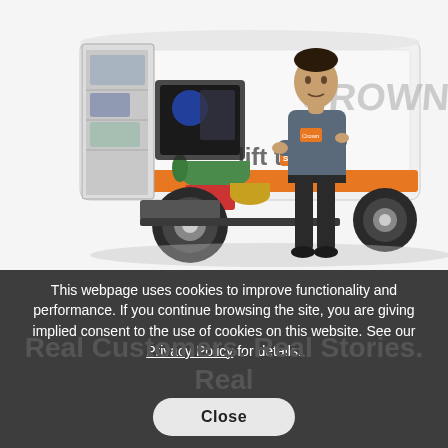[Figure (photo): A Crown lift trucks service van with rear doors open showing equipment and parts inside. A male technician in uniform stands in front of the van with arms crossed. The van is white with orange and gray markings and 'Crown lift trucks' branding visible on the side.]
This webpage uses cookies to improve functionality and performance. If you continue browsing the site, you are giving implied consent to the use of cookies on this website. See our Privacy Policy for details.
Real Customers. Real Stories. Real
Close